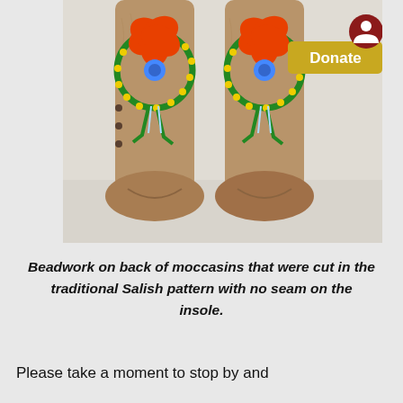[Figure (photo): Two traditional Salish moccasins shown from the back, made of tan/brown suede leather with colorful beadwork floral designs — orange flower petals with blue center and green leaf accents — on the upper shaft. The moccasins rest on a white/light gray surface. A yellow 'Donate' button and a dark red circular user icon are overlaid on the upper right area of the photo.]
Beadwork on back of moccasins that were cut in the traditional Salish pattern with no seam on the insole.
Please take a moment to stop by and